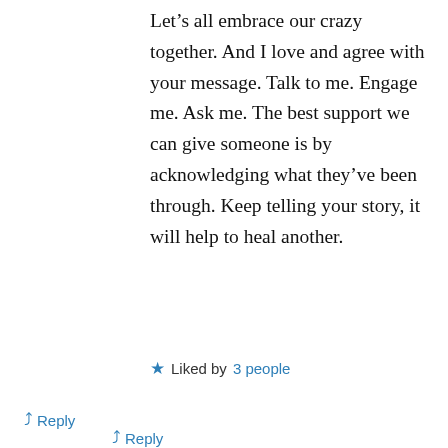Let's all embrace our crazy together. And I love and agree with your message. Talk to me. Engage me. Ask me. The best support we can give someone is by acknowledging what they've been through. Keep telling your story, it will help to heal another.
Liked by 3 people
↳ Reply
Dave on April 23, 2016 at 11:43 am
Privacy & Cookies: This site uses cookies. By continuing to use this website, you agree to their use.
To find out more, including how to control cookies, see here: Cookie Policy
Close and accept
↳ Reply